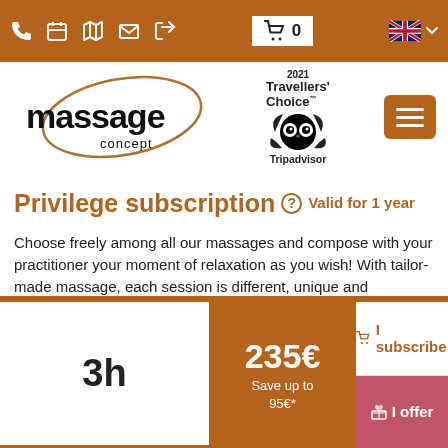Navigation bar with phone, calendar, map, email, login icons; cart with 0 items; UK flag language selector
[Figure (logo): Massage Concept logo with golden oval and black text, plus 2021 Travellers Choice Tripadvisor badge]
Privilege subscription Valid for 1 year
Choose freely among all our massages and compose with your practitioner your moment of relaxation as you wish! With tailor-made massage, each session is different, unique and personalized.
| Duration | Price | Actions |
| --- | --- | --- |
| 3h | 235€
Save up to 95€* | I subscribe | I offer |